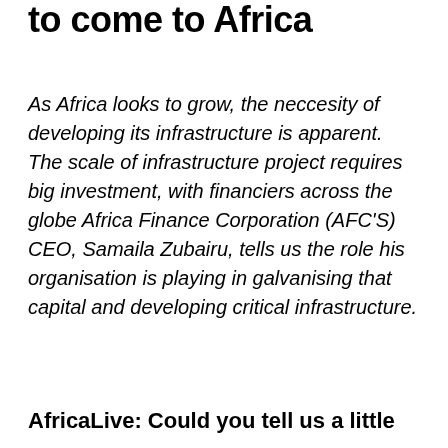to come to Africa
As Africa looks to grow, the neccesity of developing its infrastructure is apparent. The scale of infrastructure project requires big investment, with financiers across the globe Africa Finance Corporation (AFC'S) CEO, Samaila Zubairu, tells us the role his organisation is playing in galvanising that capital and developing critical infrastructure.
AfricaLive: Could you tell us a little